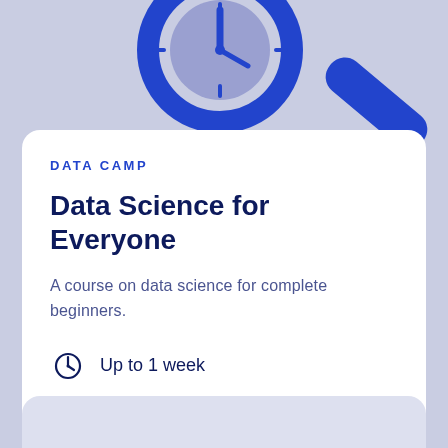[Figure (illustration): Partial illustration of a magnifying glass with a clock face, shown on a light blue/lavender background, cropped at top of page]
DATACAMP
Data Science for Everyone
A course on data science for complete beginners.
Up to 1 week
Basic
Free
EN